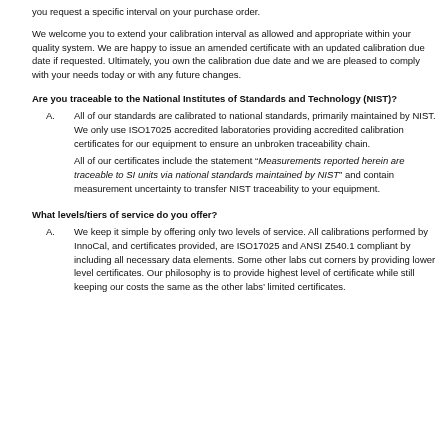you request a specific interval on your purchase order.
We welcome you to extend your calibration interval as allowed and appropriate within your quality system. We are happy to issue an amended certificate with an updated calibration due date if requested. Ultimately, you own the calibration due date and we are pleased to comply with your needs today or with any future changes.
Are you traceable to the National Institutes of Standards and Technology (NIST)?
All of our standards are calibrated to national standards, primarily maintained by NIST. We only use ISO17025 accredited laboratories providing accredited calibration certificates for our equipment to ensure an unbroken traceability chain.

All of our certificates include the statement “Measurements reported herein are traceable to SI units via national standards maintained by NIST” and contain measurement uncertainty to transfer NIST traceability to your equipment.
What levels/tiers of service do you offer?
We keep it simple by offering only two levels of service. All calibrations performed by InnoCal, and certificates provided, are ISO17025 and ANSI Z540.1 compliant by including all necessary data elements. Some other labs cut corners by providing lower level certificates. Our philosophy is to provide highest level of certificate while still keeping our costs the same as the other labs' limited certificates.